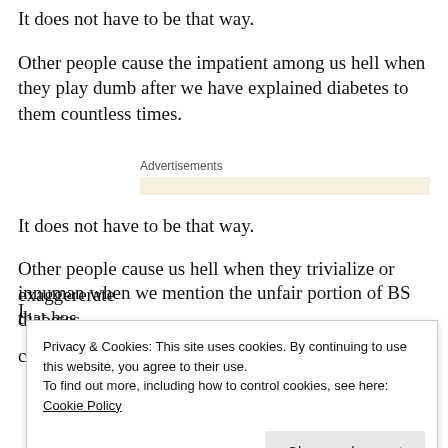It does not have to be that way.
Other people cause the impatient among us hell when they play dumb after we have explained diabetes to them countless times.
[Figure (other): Advertisements placeholder bar with label 'Advertisements' and a light beige/yellow horizontal bar below it]
It does not have to be that way.
Other people cause us hell when they trivialize or exaggerate diabetes.
innuman when we mention the unfair portion of BS that has
Privacy & Cookies: This site uses cookies. By continuing to use this website, you agree to their use. To find out more, including how to control cookies, see here: Cookie Policy
Close and accept